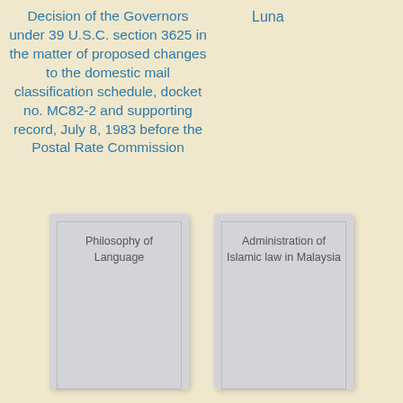Decision of the Governors under 39 U.S.C. section 3625 in the matter of proposed changes to the domestic mail classification schedule, docket no. MC82-2 and supporting record, July 8, 1983 before the Postal Rate Commission
Luna
[Figure (illustration): Book cover placeholder card labeled 'Philosophy of Language']
[Figure (illustration): Book cover placeholder card labeled 'Administration of Islamic law in Malaysia']